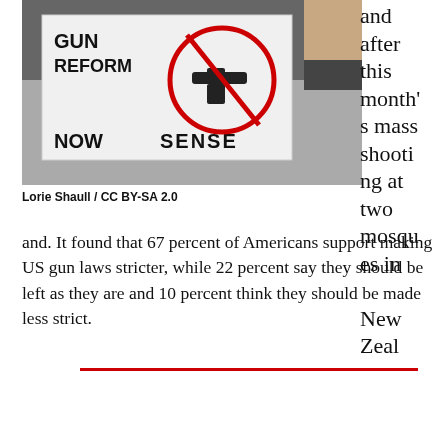[Figure (photo): Person holding a protest sign that reads 'GUN REFORM NOW' and 'SENSE' with a no-gun symbol (gun in red circle with line through it)]
Lorie Shaull / CC BY-SA 2.0
and after this month's mass shooting at two mosques in New Zealand. It found that 67 percent of Americans support making US gun laws stricter, while 22 percent say they should be left as they are and 10 percent think they should be made less strict.